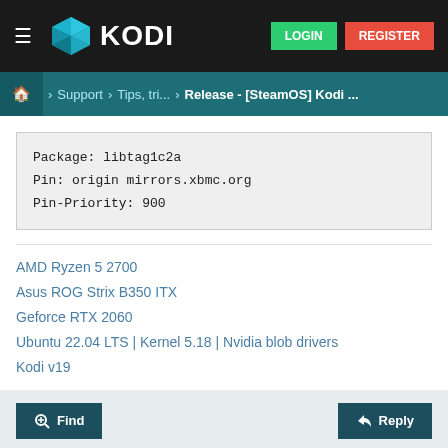KODI — LOGIN | REGISTER
> Support > Tips, tri... > Release - [SteamOS] Kodi ...
Package: libtag1c2a
Pin: origin mirrors.xbmc.org
Pin-Priority: 900
AMD Ryzen 5 2700
Asus ROG Strix B350 ITX
Geforce RTX 2060
Ubuntu 22.04 LTS | Kernel 5.18 | Nvidia blob drivers
Kodi v19
Find   Reply
wsnipex
Team Kodi